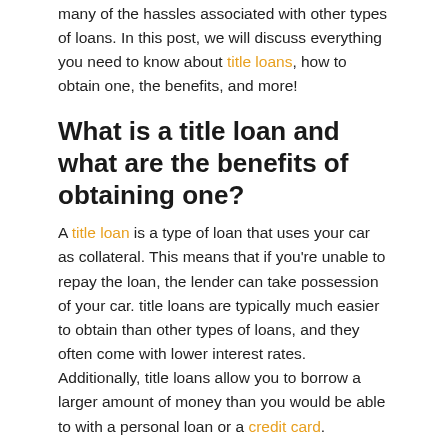many of the hassles associated with other types of loans. In this post, we will discuss everything you need to know about title loans, how to obtain one, the benefits, and more!
What is a title loan and what are the benefits of obtaining one?
A title loan is a type of loan that uses your car as collateral. This means that if you're unable to repay the loan, the lender can take possession of your car. title loans are typically much easier to obtain than other types of loans, and they often come with lower interest rates. Additionally, title loans allow you to borrow a larger amount of money than you would be able to with a personal loan or a credit card.
There are several benefits to obtaining a title loan:
title loans are quick and easy to obtain – in most cases,